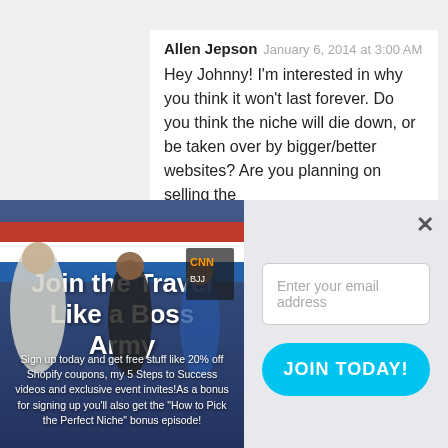Allen Jepson  January 6, 2014 at 3:00 AM
Hey Johnny! I'm interested in why you think it won't last forever. Do you think the niche will die down, or be taken over by bigger/better websites? Are you planning on selling the
[Figure (photo): Popup overlay with left panel showing 'Join the Travel Like a Boss Army' with red/white/blue banner and martial arts people image, and right panel with email signup form and JOIN TODAY! button]
Sign up today and get free stuff like 20% off Shopify coupons, my 5 Steps to Success videos and exclusive event invites!As a bonus for signing up you'll also get the "How to Pick the Perfect Niche" bonus episode!
Enter your email address
JOIN TODAY!